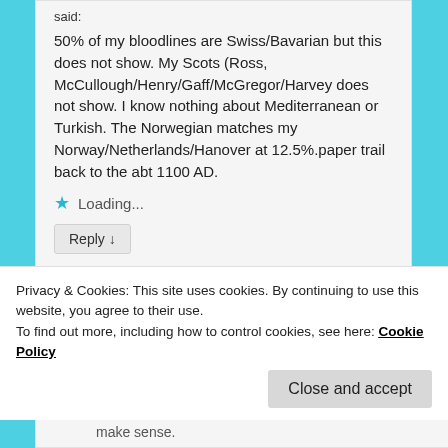said:
50% of my bloodlines are Swiss/Bavarian but this does not show. My Scots (Ross, McCullough/Henry/Gaff/McGregor/Harvey does not show. I know nothing about Mediterranean or Turkish. The Norwegian matches my Norway/Netherlands/Hanover at 12.5%.paper trail back to the abt 1100 AD.
Loading...
Reply ↓
ronaldhankou
make sense.
Privacy & Cookies: This site uses cookies. By continuing to use this website, you agree to their use.
To find out more, including how to control cookies, see here: Cookie Policy
Close and accept